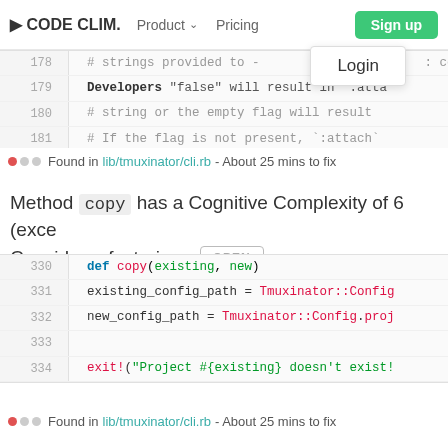CODE CLIM.  Product  Pricing  Sign up  Login
178   # strings provided to - coel
179   Developers "false" will result in `:atta
180   # string or the empty flag will result
181   # If the flag is not present, `:attach`
Found in lib/tmuxinator/cli.rb - About 25 mins to fix
Method copy has a Cognitive Complexity of 6 (exce Consider refactoring.  OPEN
330   def copy(existing, new)
331   existing_config_path = Tmuxinator::Config
332   new_config_path = Tmuxinator::Config.proj
333
334   exit!("Project #{existing} doesn't exist!
Found in lib/tmuxinator/cli.rb - About 25 mins to fix